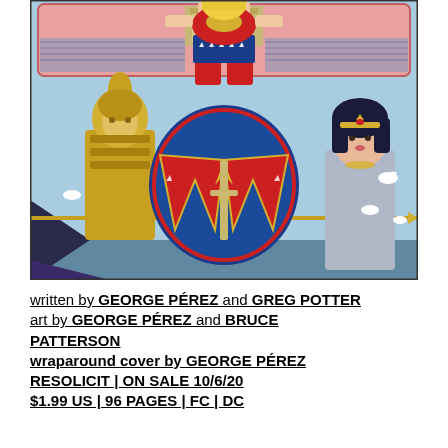[Figure (illustration): Comic book cover art for Wonder Woman featuring Wonder Woman in her classic costume in the center, a golden armored warrior on the left holding a spear, a dark-haired woman in a grey dress on the right, white doves flying, and a crowd scene in a pink-bordered banner at the top with ancient Greek architecture.]
written by GEORGE PÉREZ and GREG POTTER
art by GEORGE PÉREZ and BRUCE PATTERSON
wraparound cover by GEORGE PÉREZ
RESOLICIT | ON SALE 10/6/20
$1.99 US | 96 PAGES | FC | DC